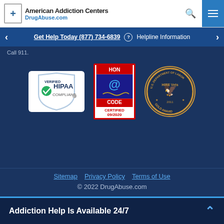American Addiction Centers DrugAbuse.com
Get Help Today (877) 734-6839 ? Helpline Information
Call 911.
[Figure (logo): HIPAA Verified Compliant badge - shield with checkmark]
[Figure (logo): HON Code Certified 09/2020 badge - red border with blue background showing HON @ CODE text]
[Figure (logo): U.S. Department of Labor HIRE Vets Gold Award 2011 circular medallion badge]
Sitemap   Privacy Policy   Terms of Use
© 2022 DrugAbuse.com
Addiction Help Is Available 24/7